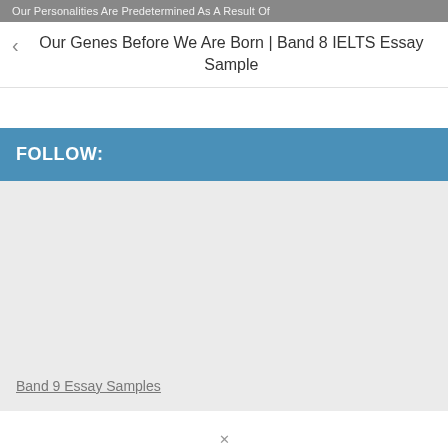Our Personalities Are Predetermined As A Result Of
Our Genes Before We Are Born | Band 8 IELTS Essay Sample
FOLLOW:
Band 9 Essay Samples